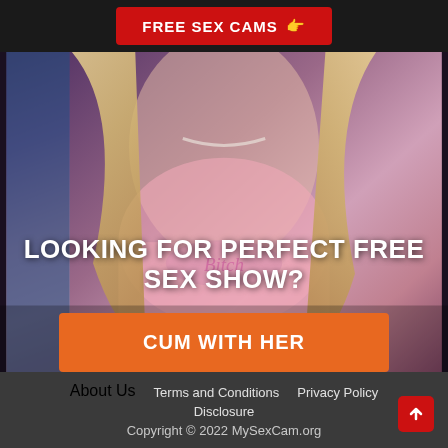FREE SEX CAMS 👉
[Figure (photo): Blonde woman wearing a pink t-shirt with decorative text, photographed from neck/chest area, with blue and pink lighting in the background]
LOOKING FOR PERFECT FREE SEX SHOW?
CUM WITH HER
About Us   Terms and Conditions   Privacy Policy   Disclosure   Copyright © 2022 MySexCam.org